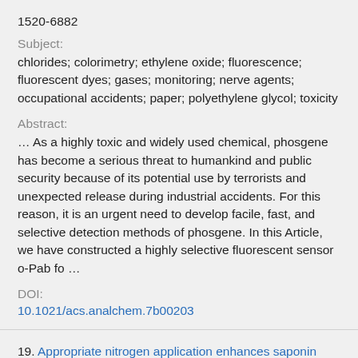1520-6882
Subject:
chlorides; colorimetry; ethylene oxide; fluorescence; fluorescent dyes; gases; monitoring; nerve agents; occupational accidents; paper; polyethylene glycol; toxicity
Abstract:
... As a highly toxic and widely used chemical, phosgene has become a serious threat to humankind and public security because of its potential use by terrorists and unexpected release during industrial accidents. For this reason, it is an urgent need to develop facile, fast, and selective detection methods of phosgene. In this Article, we have constructed a highly selective fluorescent sensor o-Pab fo ...
DOI:
10.1021/acs.analchem.7b00203
19. Appropriate nitrogen application enhances saponin synthesis and growth mediated by optimizing root nutrient uptake ability